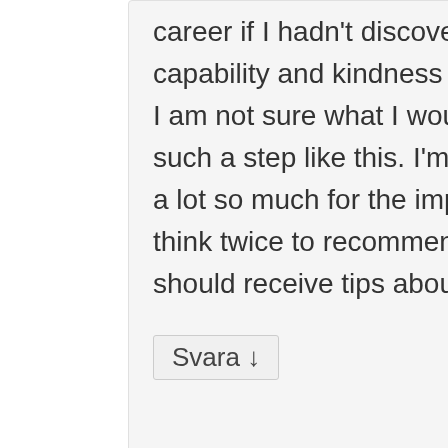career if I hadn't discovered your web page. Your own capability and kindness in controlling all things was valuable. I am not sure what I would've done if I hadn't discovered such a step like this. I'm able to now relish my future. Thanks a lot so much for the impressive and effective help. I will not think twice to recommend your web site to anybody who should receive tips about this matter.
Svara ↓
[Figure (illustration): Generic user avatar placeholder image - grey silhouette of a person on light grey background]
sports betting services den juli 11, 2012 kl. 6:33 f m
skrev:
Some really select posts on this web site , saved to favorites .